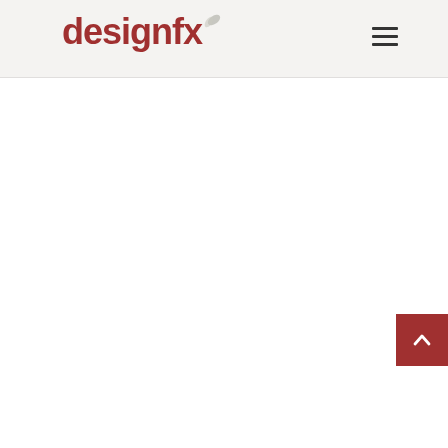designfx
[Figure (logo): designfx logo with leaf icon and hamburger menu icon in header bar]
[Figure (other): Scroll-to-top button with upward chevron arrow, dark red/maroon background, positioned at bottom right]